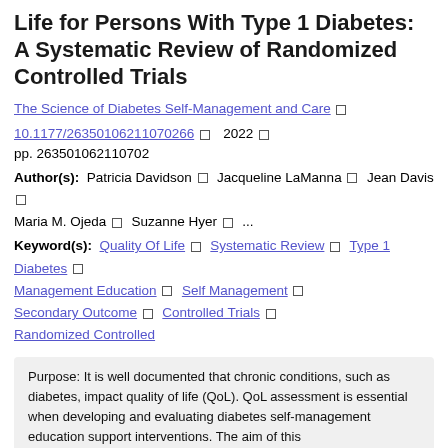Life for Persons With Type 1 Diabetes: A Systematic Review of Randomized Controlled Trials
The Science of Diabetes Self-Management and Care □
10.1177/26350106211070266 □  2022 □ pp. 263501062110702
Author(s): Patricia Davidson □  Jacqueline LaManna □  Jean Davis □  Maria M. Ojeda □  Suzanne Hyer □  ...
Keyword(s): Quality Of Life □  Systematic Review □  Type 1 Diabetes □  Management Education □  Self Management □  Secondary Outcome □  Controlled Trials □  Randomized Controlled
Purpose: It is well documented that chronic conditions, such as diabetes, impact quality of life (QoL). QoL assessment is essential when developing and evaluating diabetes self-management education support interventions. The aim of this